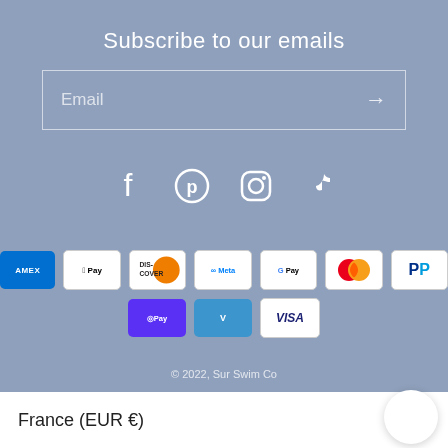Subscribe to our emails
[Figure (screenshot): Email subscription input field with arrow button]
[Figure (infographic): Social media icons: Facebook, Pinterest, Instagram, TikTok]
[Figure (infographic): Payment method icons: American Express, Apple Pay, Discover, Meta Pay, Google Pay, Mastercard, PayPal, Shop Pay, Venmo, Visa]
© 2022, Sur Swim Co
France (EUR €)